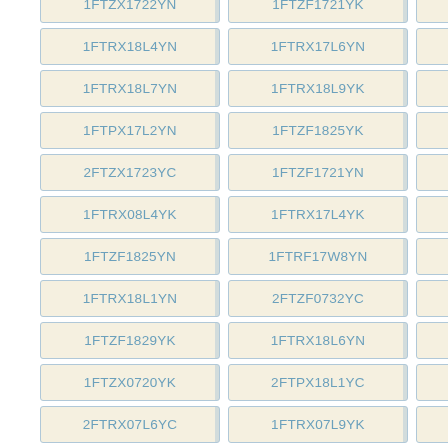1FTZX1722YN
1FTZF1721YK
1FTRX18LXYK
1FTRX18L4YN
1FTRX17L6YN
1FTZX1721YN
1FTRX18L7YN
1FTRX18L9YK
1FTRX17W7YK
1FTPX17L2YN
1FTZF1825YK
1FTRX18W8YN
2FTZX1723YC
1FTZF1721YN
2FTRX18L5YC
1FTRX08L4YK
1FTRX17L4YK
1FTRX18W0YN
1FTZF1825YN
1FTRF17W8YN
1FTRX17L2YK
1FTRX18L1YN
2FTZF0732YC
3FTZF1727YM
1FTZF1829YK
1FTRX18L6YN
1FTRX18L0YK
1FTZX0720YK
2FTPX18L1YC
1FTRX17W4YK
2FTRX07L6YC
1FTRX07L9YK
1FTRX17W9YK
1FTRF17L4YN
2FTRX08L1YC
2FTZX1721YC